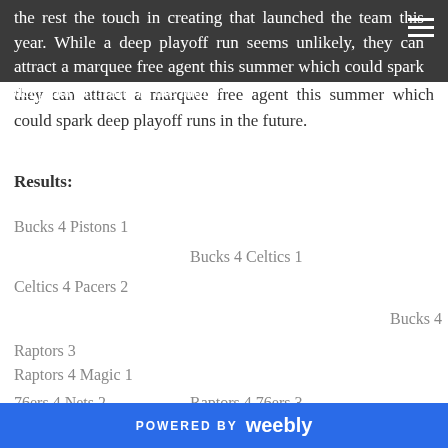the rest the touch in creating that launched the team this year. While a deep playoff run seems unlikely, they can attract a marquee free agent this summer which could spark deep playoff runs in the future.
Results:
Bucks 4 Pistons 1
Bucks 4 Celtics 1
Celtics 4 Pacers 2
Bucks 4
Raptors 3
Raptors 4 Magic 1
Raptors 4 76ers 3
76ers 4 Nets 2
POWERED BY weebly